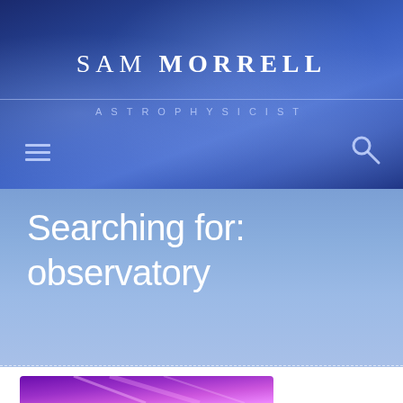SAM MORRELL – ASTROPHYSICIST
Searching for: observatory
[Figure (screenshot): Bottom purple image preview partially visible at bottom of page]